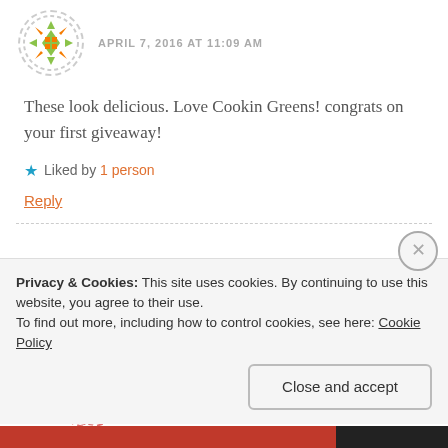[Figure (illustration): Circular avatar with green and orange geometric/star pattern, dashed border]
APRIL 7, 2016 AT 11:09 AM
These look delicious. Love Cookin Greens! congrats on your first giveaway!
★ Liked by 1 person
Reply
[Figure (photo): Circular avatar photo of a woman with dark hair across her face, dashed red border]
Pragma Mamma
APRIL 7, 2016 AT 12:16 PM
Privacy & Cookies: This site uses cookies. By continuing to use this website, you agree to their use.
To find out more, including how to control cookies, see here: Cookie Policy
Close and accept